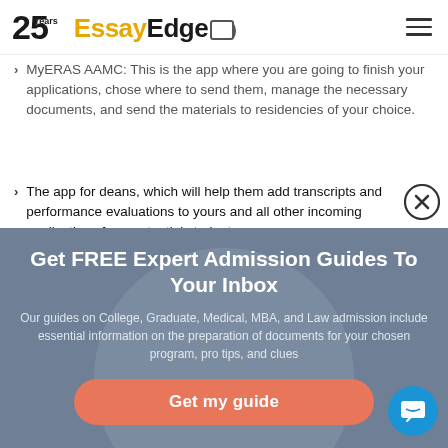25 Years EssayEdge
MyERAS AAMC: This is the app where you are going to finish your applications, chose where to send them, manage the necessary documents, and send the materials to residencies of your choice.
The app for deans, which will help them add transcripts and performance evaluations to yours and all other incoming applications from potential students.
Get FREE Expert Admission Guides To Your Inbox
Our guides on College, Graduate, Medical, MBA, and Law admission include essential information on the preparation of documents for your chosen program, pro tips, and clues